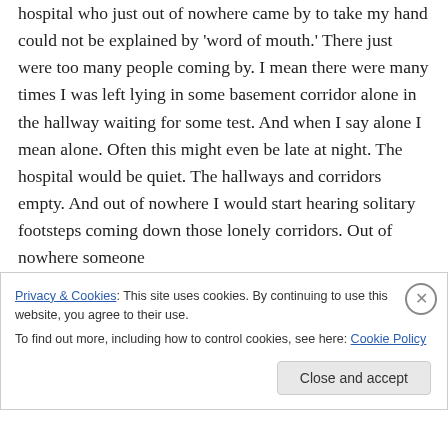hospital who just out of nowhere came by to take my hand could not be explained by 'word of mouth.' There just were too many people coming by. I mean there were many times I was left lying in some basement corridor alone in the hallway waiting for some test. And when I say alone I mean alone. Often this might even be late at night. The hospital would be quiet. The hallways and corridors empty. And out of nowhere I would start hearing solitary footsteps coming down those lonely corridors. Out of nowhere someone
Privacy & Cookies: This site uses cookies. By continuing to use this website, you agree to their use.
To find out more, including how to control cookies, see here: Cookie Policy